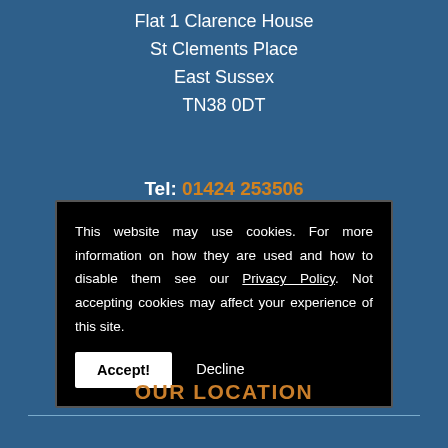Flat 1 Clarence House
St Clements Place
East Sussex
TN38 0DT
Tel: 01424 253506
This website may use cookies. For more information on how they are used and how to disable them see our Privacy Policy. Not accepting cookies may affect your experience of this site.
Accept!  Decline
OUR LOCATION